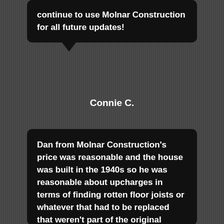continue to use Molnar Construction for all future updates!
Connie C.
Dan from Molnar Construction's price was reasonable and the house was built in the 1940s so he was reasonable about upcharges in terms of finding rotten floor joists or whatever that had to be replaced that weren't part of the original quote. He's a good listener and was able to come up with ideas. He was the one contractor that provided feedback and suggestions. If he didn't agree with something I wanted he would tell me why whether it be from a cost or a structural issue so he was excellent at doing that. Dan from Molnar